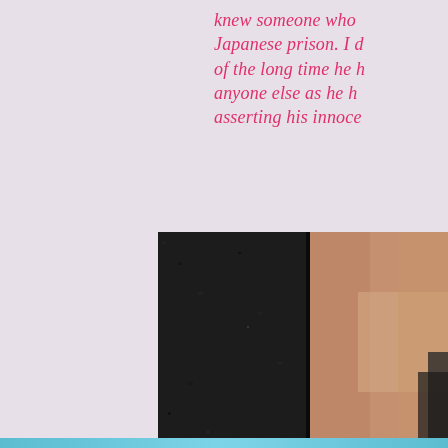knew someone who was in a Japanese prison. I did not think of the long time he had more than anyone else as he had been asserting his innoce...
[Figure (photo): Partial view of a person against a dark textured black wall background, cropped to show right portion of the page]